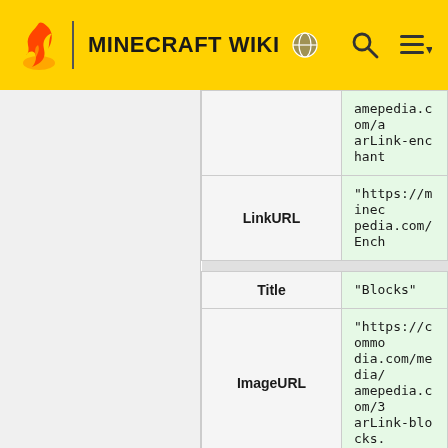MINECRAFT WIKI
| Key | Value |
| --- | --- |
|  | amepedia.com/a
arLink-enchant |
| LinkURL | "https://minec
pedia.com/Ench |
| Title | "Blocks" |
| ImageURL | "https://commo
dia.com/media/
amepedia.com/3
arLink-blocks. |
| LinkURL | "https://minec
pedia.com/Bloc |
| Title | "Items" |